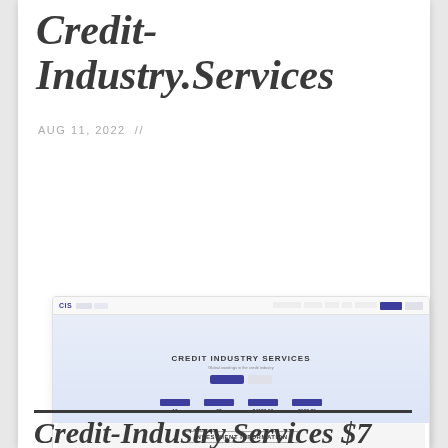Credit-Industry.Services
AUG 11, 2022  //
[Figure (screenshot): Screenshot of Credit-Industry.Services website showing navigation bar, hero section with 'CREDIT INDUSTRY SERVICES' heading, stat bars showing values 10, 92, $4030.00, $602.25, and an Investment Information section with panels showing 2.5% rate and a table with percentages 3%, 2%, 1%]
Credit-Industry.Services $7...